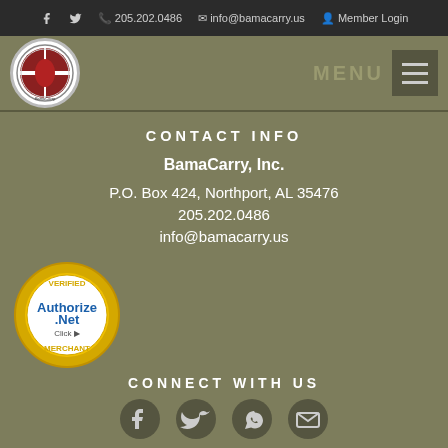205.202.0486  info@bamacarry.us  Member Login
[Figure (logo): BamaCarry circular logo with Alabama state flag design and organization name around the border]
CONTACT INFO
BamaCarry, Inc.
P.O. Box 424, Northport, AL 35476
205.202.0486
info@bamacarry.us
[Figure (logo): Authorize.Net Verified Merchant badge - gold circular seal with Authorize.Net Click text]
CONNECT WITH US
[Figure (illustration): Social media icons: Facebook, Twitter, phone, email]